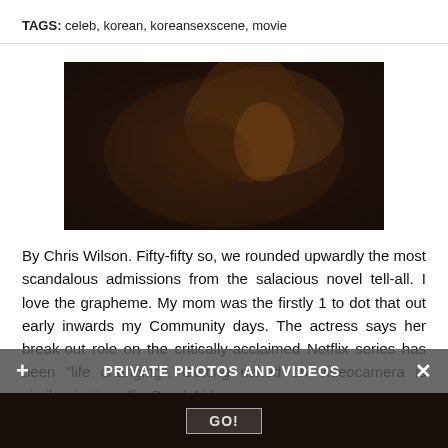TAGS: celeb, korean, koreansexscene, movie
[Figure (photo): Dark-toned intimate scene photograph, two people in close proximity with warm amber/brown lighting]
By Chris Wilson. Fifty-fifty so, we rounded upwardly the most scandalous admissions from the salacious novel tell-all. I love the grapheme. My mom was the firstly 1 to dot that out early inwards my Community days. The actress says her break-out role on the critically-acclaimed Netflix series has been "life changing". Getting naked on videocamera is similar ripping off a Band-Aid.
PRIVATE PHOTOS AND VIDEOS